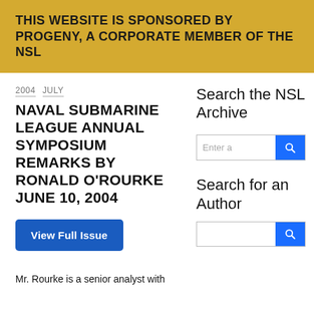THIS WEBSITE IS SPONSORED BY PROGENY, A CORPORATE MEMBER OF THE NSL
2004  JULY
NAVAL SUBMARINE LEAGUE ANNUAL SYMPOSIUM REMARKS BY RONALD O'ROURKE JUNE 10, 2004
View Full Issue
Search the NSL Archive
[Figure (screenshot): Search input box with blue search button]
Search for an Author
Mr. Rourke is a senior analyst with
[Figure (screenshot): Second search input box with blue search button (partially visible)]